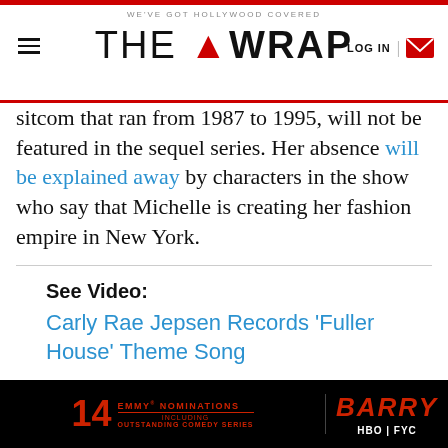WE'VE GOT HOLLYWOOD COVERED | THE WRAP | LOG IN
sitcom that ran from 1987 to 1995, will not be featured in the sequel series. Her absence will be explained away by characters in the show who say that Michelle is creating her fashion empire in New York.
See Video:
Carly Rae Jepsen Records 'Fuller House' Theme Song
Netflix’s “Fuller House” will be available starting Feb. 26.
[Figure (other): Barry HBO FYC advertisement banner: 14 Emmy Nominations including Outstanding Comedy Series, Barry HBO FYC]